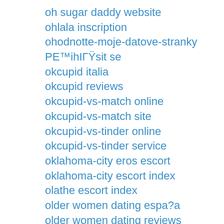oh sugar daddy website
ohlala inscription
ohodnotte-moje-datove-stranky PE™ihIГŸsit se
okcupid italia
okcupid reviews
okcupid-vs-match online
okcupid-vs-match site
okcupid-vs-tinder online
okcupid-vs-tinder service
oklahoma-city eros escort
oklahoma-city escort index
olathe escort index
older women dating espa?a
older women dating reviews